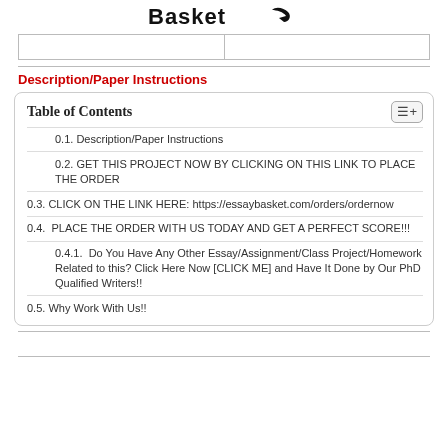[Figure (logo): EssayBasket logo with stylized arrow]
|  |   |
Description/Paper Instructions
| Table of Contents |
| --- |
| 0.1. Description/Paper Instructions |
| 0.2. GET THIS PROJECT NOW BY CLICKING ON THIS LINK TO PLACE THE ORDER |
| 0.3. CLICK ON THE LINK HERE: https://essaybasket.com/orders/ordernow |
| 0.4.  PLACE THE ORDER WITH US TODAY AND GET A PERFECT SCORE!!! |
| 0.4.1.  Do You Have Any Other Essay/Assignment/Class Project/Homework Related to this? Click Here Now [CLICK ME] and Have It Done by Our PhD Qualified Writers!! |
| 0.5. Why Work With Us!! |